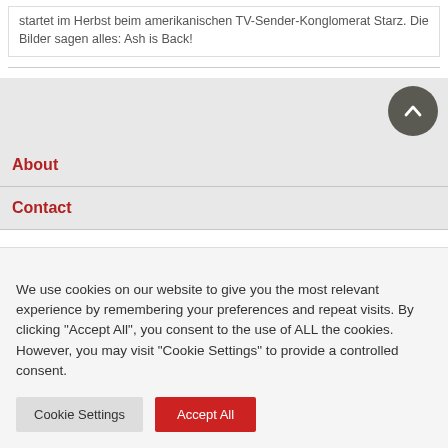startet im Herbst beim amerikanischen TV-Sender-Konglomerat Starz. Die Bilder sagen alles: Ash is Back!
About
Contact
We use cookies on our website to give you the most relevant experience by remembering your preferences and repeat visits. By clicking "Accept All", you consent to the use of ALL the cookies. However, you may visit "Cookie Settings" to provide a controlled consent.